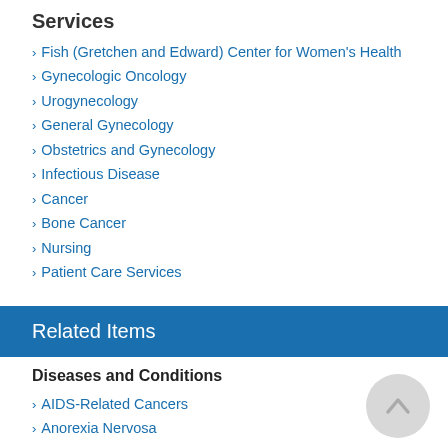Services
Fish (Gretchen and Edward) Center for Women's Health
Gynecologic Oncology
Urogynecology
General Gynecology
Obstetrics and Gynecology
Infectious Disease
Cancer
Bone Cancer
Nursing
Patient Care Services
Related Items
Diseases and Conditions
AIDS-Related Cancers
Anorexia Nervosa